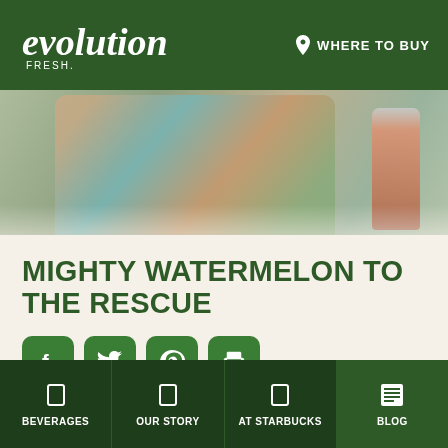evolution FRESH. — WHERE TO BUY
[Figure (photo): Hero photo showing a person in colorful clothing, likely outdoors, with a juice bottle visible on the right side. Muted, warm tones with green overlay.]
MIGHTY WATERMELON TO THE RESCUE
[Figure (infographic): Row of four green rounded-square social sharing buttons: Facebook (f), Twitter (bird), Pinterest (P), and Print (printer icon)]
By David Clark
BEVERAGES | OUR STORY | AT STARBUCKS | BLOG